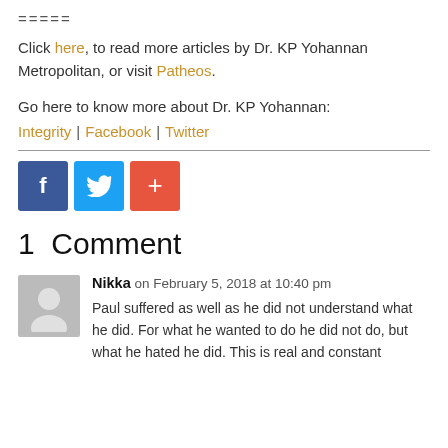=====
Click here, to read more articles by Dr. KP Yohannan Metropolitan, or visit Patheos.
Go here to know more about Dr. KP Yohannan: Integrity | Facebook | Twitter
[Figure (infographic): Three social sharing buttons: Facebook (blue), Twitter (light blue), and a plus/share button (orange-red)]
1 Comment
Nikka on February 5, 2018 at 10:40 pm
Paul suffered as well as he did not understand what he did. For what he wanted to do he did not do, but what he hated he did. This is real and constant